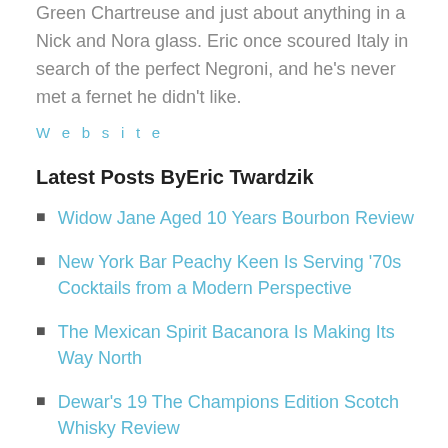Green Chartreuse and just about anything in a Nick and Nora glass. Eric once scoured Italy in search of the perfect Negroni, and he's never met a fernet he didn't like.
Website
Latest Posts ByEric Twardzik
Widow Jane Aged 10 Years Bourbon Review
New York Bar Peachy Keen Is Serving '70s Cocktails from a Modern Perspective
The Mexican Spirit Bacanora Is Making Its Way North
Dewar's 19 The Champions Edition Scotch Whisky Review